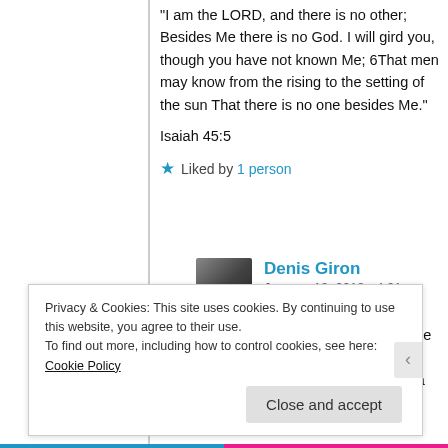“I am the LORD, and there is no other; Besides Me there is no God. I will gird you, though you have not known Me; 6That men may know from the rising to the setting of the sun That there is no one besides Me.”
Isaiah 45:5
★ Liked by 1 person
Denis Giron
January 18, 2018 • 4:21 pm
Burhanuddin, to be clear, my precise argument is that, in Semitic languages (in particular, Hebrew), a
Privacy & Cookies: This site uses cookies. By continuing to use this website, you agree to their use.
To find out more, including how to control cookies, see here: Cookie Policy
Close and accept